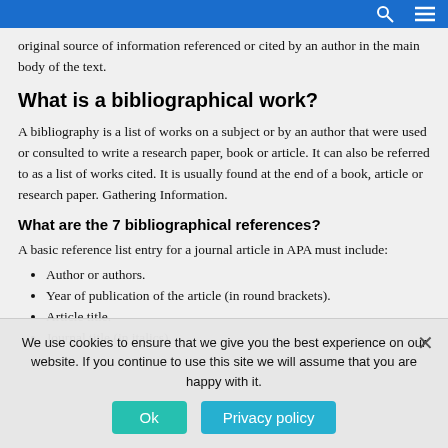original source of information referenced or cited by an author in the main body of the text.
What is a bibliographical work?
A bibliography is a list of works on a subject or by an author that were used or consulted to write a research paper, book or article. It can also be referred to as a list of works cited. It is usually found at the end of a book, article or research paper. Gathering Information.
What are the 7 bibliographical references?
A basic reference list entry for a journal article in APA must include:
Author or authors.
Year of publication of the article (in round brackets).
Article title.
Journal title (in italics).
We use cookies to ensure that we give you the best experience on our website. If you continue to use this site we will assume that you are happy with it.